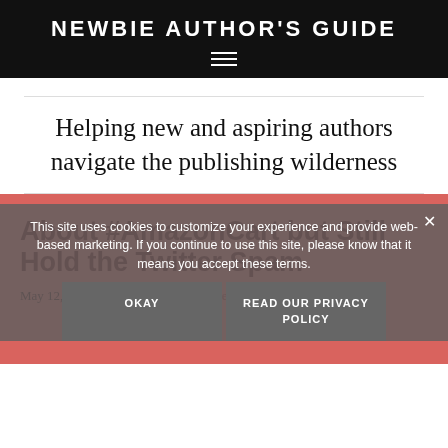NEWBIE AUTHOR'S GUIDE
Helping new and aspiring authors navigate the publishing wilderness
About #AmazonCart but Still Hold the Twitter Spam
May 12, 2014 By Amanda Taylor — Leave a Comment
This site uses cookies to customize your experience and provide web-based marketing. If you continue to use this site, please know that it means you accept these terms.
OKAY   READ OUR PRIVACY POLICY